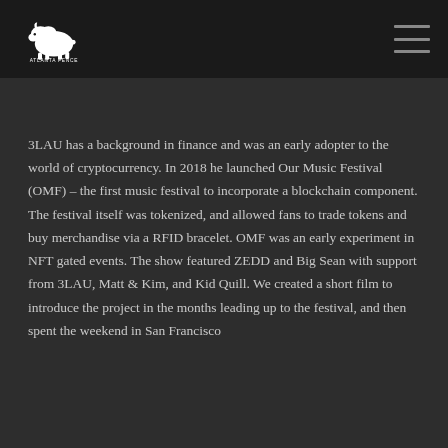[Logo: Atlanta Fence / bison icon] [Menu icon]
3LAU has a background in finance and was an early adopter to the world of cryptocurrency. In 2018 he launched Our Music Festival (OMF) – the first music festival to incorporate a blockchain component. The festival itself was tokenized, and allowed fans to trade tokens and buy merchandise via a RFID bracelet. OMF was an early experiment in NFT gated events. The show featured ZEDD and Big Sean with support from 3LAU, Matt & Kim, and Kid Quill. We created a short film to introduce the project in the months leading up to the festival, and then spent the weekend in San Francisco